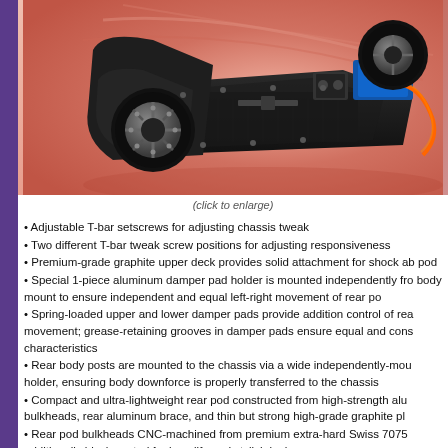[Figure (photo): RC car chassis photographed from below/side showing wheels, motors, carbon fiber plate, electronic components on a pink/red gradient background]
(click to enlarge)
Adjustable T-bar setscrews for adjusting chassis tweak
Two different T-bar tweak screw positions for adjusting responsiveness
Premium-grade graphite upper deck provides solid attachment for shock ab pod
Special 1-piece aluminum damper pad holder is mounted independently fro body mount to ensure independent and equal left-right movement of rear po
Spring-loaded upper and lower damper pads provide addition control of rea movement; grease-retaining grooves in damper pads ensure equal and cons characteristics
Rear body posts are mounted to the chassis via a wide independently-mou holder, ensuring body downforce is properly transferred to the chassis
Compact and ultra-lightweight rear pod constructed from high-strength alu bulkheads, rear aluminum brace, and thin but strong high-grade graphite pl
Rear pod bulkheads CNC-machined from premium extra-hard Swiss 7075 additionally black coated for long life and stylish look.